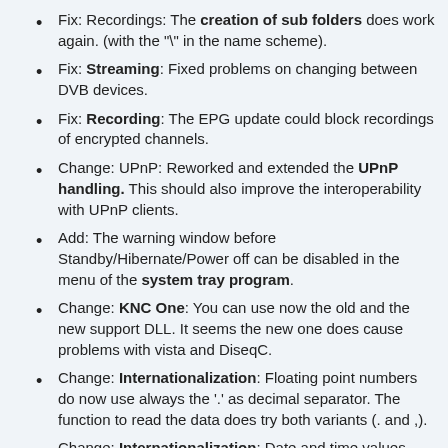Fix: Recordings: The creation of sub folders does work again. (with the "\" in the name scheme).
Fix: Streaming: Fixed problems on changing between DVB devices.
Fix: Recording: The EPG update could block recordings of encrypted channels.
Change: UPnP: Reworked and extended the UPnP handling. This should also improve the interoperability with UPnP clients.
Add: The warning window before Standby/Hibernate/Power off can be disabled in the menu of the system tray program.
Change: KNC One: You can use now the old and the new support DLL. It seems the new one does cause problems with vista and DiseqC.
Change: Internationalization: Floating point numbers do now use always the '.' as decimal separator. The function to read the data does try both variants (. and ,).
Change: Internationalization: Date and time values